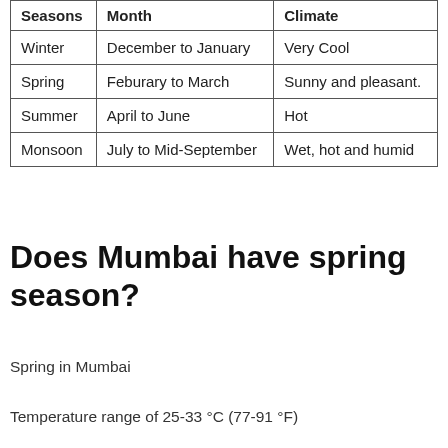| Seasons | Month | Climate |
| --- | --- | --- |
| Winter | December to January | Very Cool |
| Spring | Feburary to March | Sunny and pleasant. |
| Summer | April to June | Hot |
| Monsoon | July to Mid-September | Wet, hot and humid |
Does Mumbai have spring season?
Spring in Mumbai
Temperature range of 25-33 °C (77-91 °F)